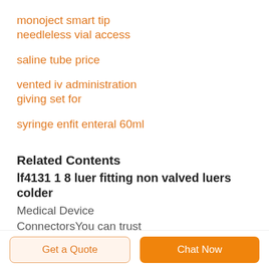monoject smart tip needleless vial access
saline tube price
vented iv administration giving set for
syringe enfit enteral 60ml
Related Contents
lf4131 1 8 luer fitting non valved luers colder
Medical Device
ConnectorsYou can trust
CPC couplings with your air
and fluid handling medical